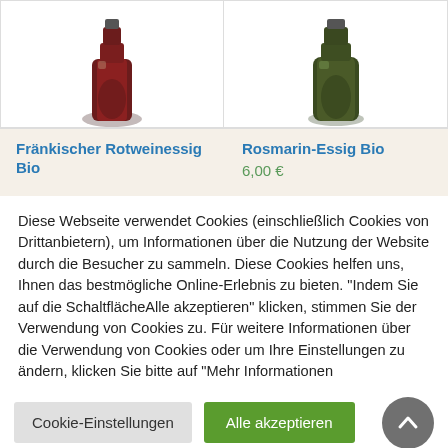[Figure (photo): Two product images: left shows a dark red wine vinegar bottle (Fränkischer Rotweinessig Bio), right shows a dark green rosemary vinegar bottle (Rosmarin-Essig Bio)]
Fränkischer Rotweinessig Bio
Rosmarin-Essig Bio
6,00 €
Diese Webseite verwendet Cookies (einschließlich Cookies von Drittanbietern), um Informationen über die Nutzung der Website durch die Besucher zu sammeln. Diese Cookies helfen uns, Ihnen das bestmögliche Online-Erlebnis zu bieten. "Indem Sie auf die SchaltflächeAlle akzeptieren" klicken, stimmen Sie der Verwendung von Cookies zu. Für weitere Informationen über die Verwendung von Cookies oder um Ihre Einstellungen zu ändern, klicken Sie bitte auf "Mehr Informationen
Cookie-Einstellungen
Alle akzeptieren